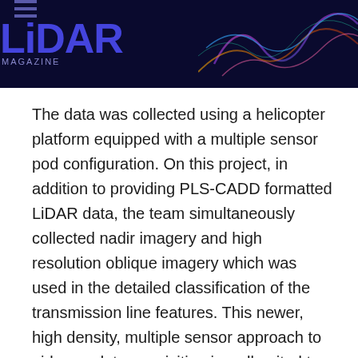LIDAR MAGAZINE
The data was collected using a helicopter platform equipped with a multiple sensor pod configuration. On this project, in addition to providing PLS-CADD formatted LiDAR data, the team simultaneously collected nadir imagery and high resolution oblique imagery which was used in the detailed classification of the transmission line features. This newer, high density, multiple sensor approach to airborne data acquisition is well-suited to mapping power transmission corridors and electric transmission operators are increasingly looking to utilize this data collection methodology to meet the North American Electric